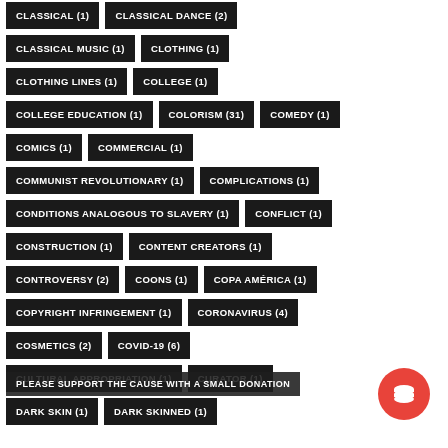CLASSICAL (1)
CLASSICAL DANCE (2)
CLASSICAL MUSIC (1)
CLOTHING (1)
CLOTHING LINES (1)
COLLEGE (1)
COLLEGE EDUCATION (1)
COLORISM (31)
COMEDY (1)
COMICS (1)
COMMERCIAL (1)
COMMUNIST REVOLUTIONARY (1)
COMPLICATIONS (1)
CONDITIONS ANALOGOUS TO SLAVERY (1)
CONFLICT (1)
CONSTRUCTION (1)
CONTENT CREATORS (1)
CONTROVERSY (2)
COONS (1)
COPA AMÉRICA (1)
COPYRIGHT INFRINGEMENT (1)
CORONAVIRUS (4)
COSMETICS (2)
COVID-19 (6)
CULTURAL APPROPRIATION (1)
CURATOR (1)
DARK SKIN (1)
DARK SKINNED (1)
PLEASE SUPPORT THE CAUSE WITH A SMALL DONATION